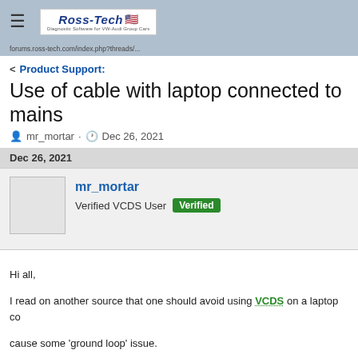Ross-Tech (logo) - forum page header
forums.ross-tech.com/...
< Product Support:
Use of cable with laptop connected to mains
mr_mortar · Dec 26, 2021
Dec 26, 2021
mr_mortar
Verified VCDS User Verified
Hi all,
I read on another source that one should avoid using VCDS on a laptop co... cause some 'ground loop' issue.
My laptop has a good battery so haven't had a need to connect to the mai... previous VCDS cable with mains and never had any issues so hoping this...
Thanks
Dec 26, 2021
Quintus Rotam